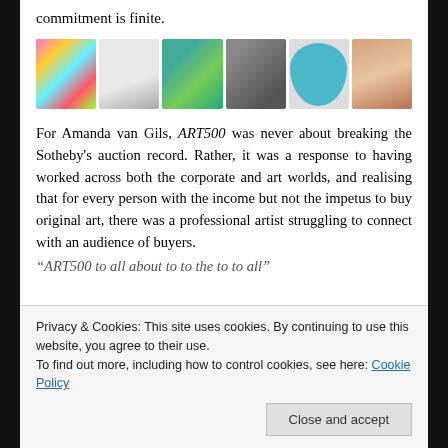commitment is finite.
[Figure (photo): A row of six art thumbnails showing various artworks: colorful abstract, white sculpture, landscape with posts, grey textured portrait, teal circle, and a fingertip close-up.]
For Amanda van Gils, ART500 was never about breaking the Sotheby's auction record. Rather, it was a response to having worked across both the corporate and art worlds, and realising that for every person with the income but not the impetus to buy original art, there was a professional artist struggling to connect with an audience of buyers.
"ART500 to all about..."
Privacy & Cookies: This site uses cookies. By continuing to use this website, you agree to their use.
To find out more, including how to control cookies, see here: Cookie Policy
Close and accept